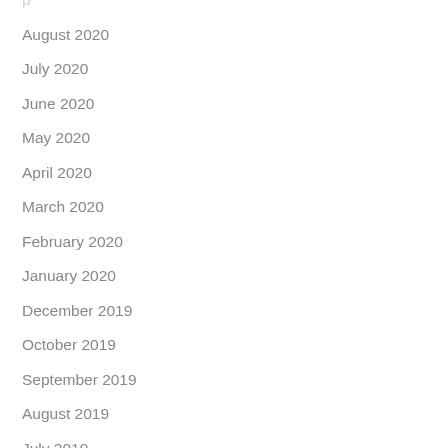August 2020
July 2020
June 2020
May 2020
April 2020
March 2020
February 2020
January 2020
December 2019
October 2019
September 2019
August 2019
July 2019
June 2019